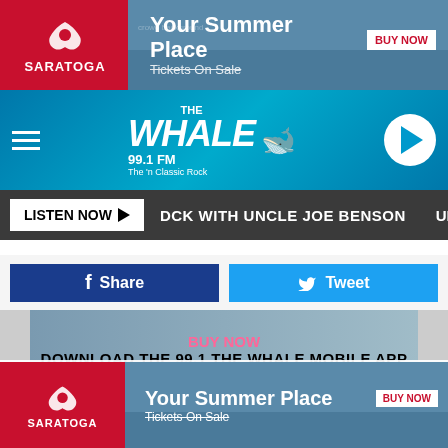[Figure (screenshot): Saratoga 'Your Summer Place' advertisement banner with crowd photo, BUY NOW button, and Tickets On Sale text]
[Figure (screenshot): 99.1 FM The Whale radio station navigation bar with hamburger menu, logo, and play button]
LISTEN NOW | DCK WITH UNCLE JOE BENSON | ULTIMATE CLASS
[Figure (screenshot): Facebook Share and Twitter Tweet social sharing buttons]
[Figure (screenshot): Download the 99.1 The Whale Mobile App banner with GET OUR FREE MOBILE APP overlay button]
At a news conference at his Binghamton office, Korchak said Gendron was evaluated by a mental health professional. The district attorney said "we don't have details of that report."
Also listen on: amazon alexa
[Figure (screenshot): Saratoga 'Your Summer Place' advertisement banner at bottom with crowd photo, BUY NOW button, and Tickets On Sale text]